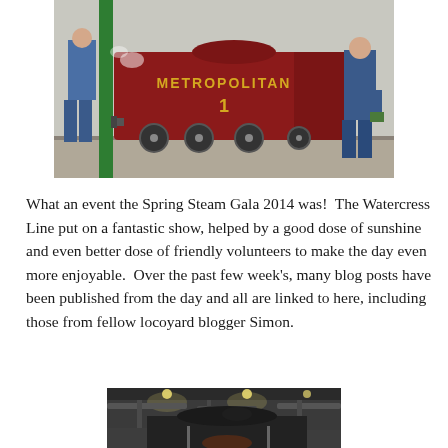[Figure (photo): A red steam locomotive labelled 'METROPOLITAN 1' at a station platform. A person in blue overalls is on the left side and another person in blue is on the right inspecting the locomotive. A green pillar is visible on the left.]
What an event the Spring Steam Gala 2014 was!  The Watercress Line put on a fantastic show, helped by a good dose of sunshine and even better dose of friendly volunteers to make the day even more enjoyable.  Over the past few week's, many blog posts have been published from the day and all are linked to here, including those from fellow locoyard blogger Simon.
[Figure (photo): Interior shot of a steam locomotive engine shed or workshop, showing machinery, pipes, and the dark bulk of a locomotive in a dimly lit industrial space.]